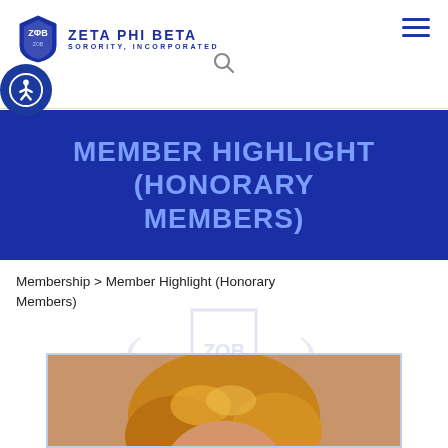ZETA PHI BETA SORORITY, INCORPORATED
MEMBER HIGHLIGHT (HONORARY MEMBERS)
Membership > Member Highlight (Honorary Members)
[Figure (photo): Partial photo of a woman with blonde/auburn hair visible at the bottom of the page, with a Zeta Phi Beta watermark logo behind]